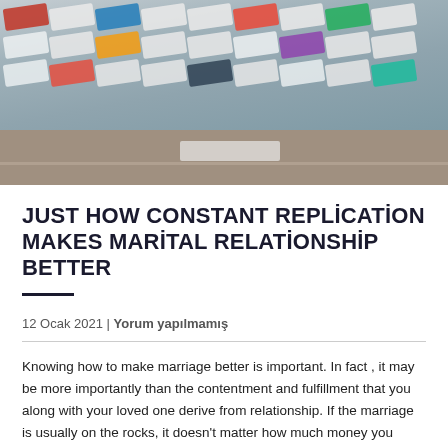[Figure (photo): Aerial view of trucks and semi-trailers parked in a lot or freight yard, seen from above, with a road/pavement area at the bottom.]
JUST HOW CONSTANT REPLICATION MAKES MARITAL RELATIONSHIP BETTER
12 Ocak 2021 | Yorum yapılmamış
Knowing how to make marriage better is important. In fact , it may be more importantly than the contentment and fulfillment that you along with your loved one derive from relationship. If the marriage is usually on the rocks, it doesn't matter how much money you have or perhaps how amazing your spouse is usually. There can be a whole range of other factors which have been contributing to the deterioration from the marriage, and none of